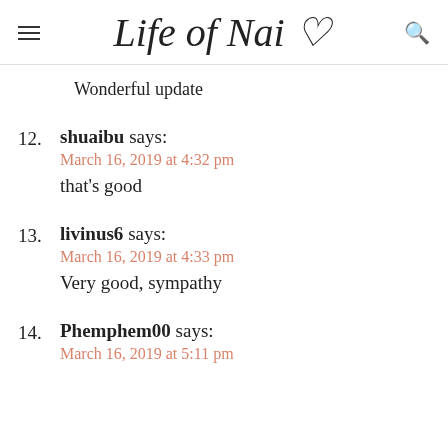Life of Nai ♡
Wonderful update
12. shuaibu says:
March 16, 2019 at 4:32 pm
that's good
13. livinus6 says:
March 16, 2019 at 4:33 pm
Very good, sympathy
14. Phemphem00 says:
March 16, 2019 at 5:11 pm